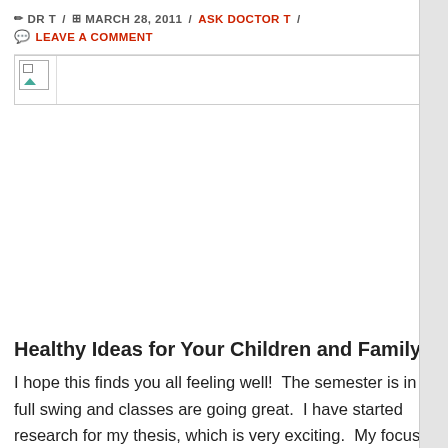DR T / MARCH 28, 2011 / ASK DOCTOR T / LEAVE A COMMENT
[Figure (photo): Broken image placeholder (image failed to load)]
Healthy Ideas for Your Children and Family
I hope this finds you all feeling well!  The semester is in full swing and classes are going great.  I have started research for my thesis, which is very exciting.  My focus will be on childhood obesity, this is an epidemic that will affect the health of our youth for years to come